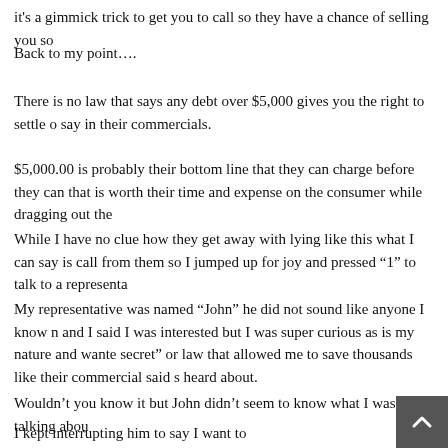it's a gimmick trick to get you to call so they have a chance of selling you so
Back to my point….
There is no law that says any debt over $5,000 gives you the right to settle o say in their commercials.
$5,000.00 is probably their bottom line that they can charge before they can that is worth their time and expense on the consumer while dragging out the
While I have no clue how they get away with lying like this what I can say is call from them so I jumped up for joy and pressed “1” to talk to a representa
My representative was named “John” he did not sound like anyone I know n and I said I was interested but I was super curious as is my nature and wante secret” or law that allowed me to save thousands like their commercial said s heard about.
Wouldn’t you know it but John didn’t seem to know what I was talking abou
I kept interrupting him to say I want to know first what this law is first befor can “do to help me”. He kept trying to read through the script and I said “ he